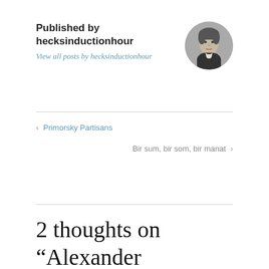Published by hecksinductionhour
View all posts by hecksinductionhour
[Figure (photo): Circular avatar portrait of a man in historical dress, black and white engraving style]
< Primorsky Partisans
Bir sum, bir som, bir manat >
2 thoughts on “Alexander Yegorov’s Funeral”